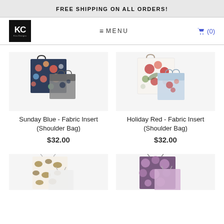FREE SHIPPING ON ALL ORDERS!
[Figure (logo): KC brand logo in black square with small text below]
≡  MENU
🛒 (0)
[Figure (photo): Sunday Blue Fabric Insert Shoulder Bag - dark navy floral print fabric bag product photo]
Sunday Blue - Fabric Insert (Shoulder Bag)
$32.00
[Figure (photo): Holiday Red Fabric Insert Shoulder Bag - white with red floral print fabric bag product photo]
Holiday Red - Fabric Insert (Shoulder Bag)
$32.00
[Figure (photo): Leopard print fabric insert bag - partial product photo at bottom]
[Figure (photo): Purple floral fabric insert bag - partial product photo at bottom]